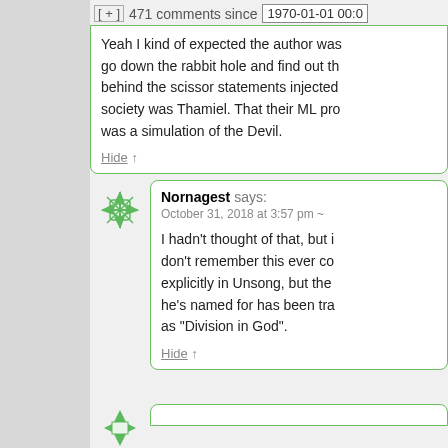[ + ]  471 comments since  1970-01-01 00:0
Yeah I kind of expected the author was go down the rabbit hole and find out th behind the scissor statements injected society was Thamiel. That their ML pro was a simulation of the Devil.

Hide ↑
Nornagest says:
October 31, 2018 at 3:57 pm ~

I hadn't thought of that, but i don't remember this ever co explicitly in Unsong, but the he's named for has been tra as "Division in God".

Hide ↑